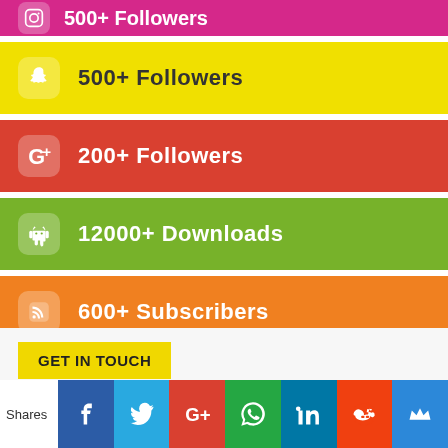500+ Followers (Instagram/magenta, partial)
500+ Followers (Snapchat/yellow)
200+ Followers (Google+/red)
12000+ Downloads (Android/green)
600+ Subscribers (RSS/orange)
GET IN TOUCH
Your Email Address
SIGN
Shares